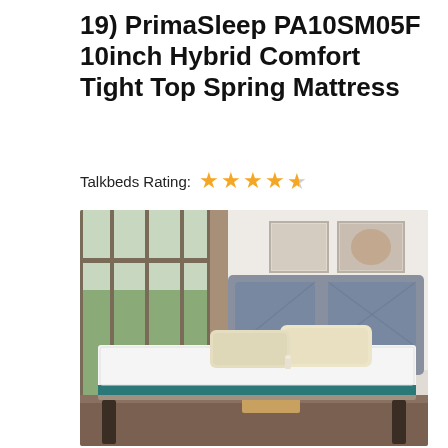19) PrimaSleep PA10SM05F 10inch Hybrid Comfort Tight Top Spring Mattress
Talkbeds Rating: ★★★★½
[Figure (photo): Product photo of PrimaSleep hybrid spring mattress on a grey upholstered bed frame with cream pillows, in a bright bedroom with large window and indoor plant]